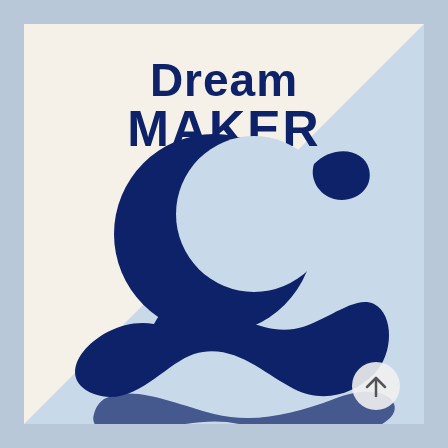[Figure (logo): Dream Maker logo: dark navy text 'Dream MAKER' at top, with a stylized dark navy crescent moon and wave/swoosh graphic below, on a split cream (top-left) and light blue (bottom-right) diagonal background. A circular arrow-up button in bottom-right corner.]